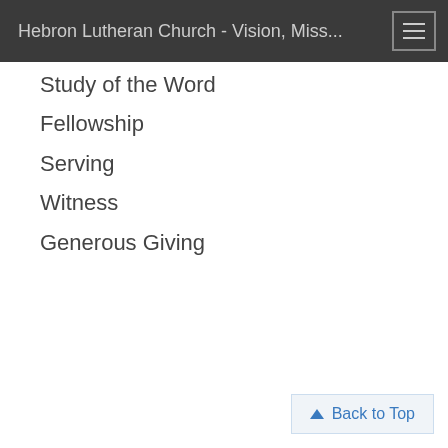Hebron Lutheran Church - Vision, Miss...
Study of the Word
Fellowship
Serving
Witness
Generous Giving
Back to Top